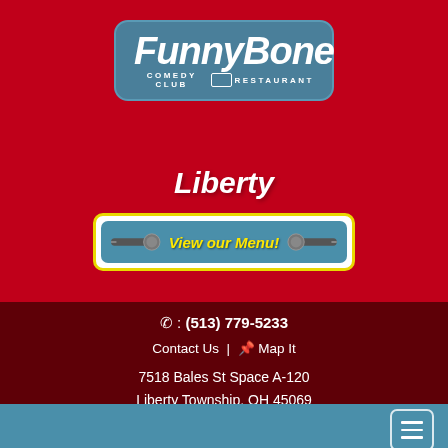[Figure (logo): FunnyBone Comedy Club Restaurant logo in a teal rounded rectangle]
Liberty
[Figure (infographic): View our Menu! banner with microphone graphics on teal background with yellow border]
: (513) 779-5233
Contact Us | Map It
7518 Bales St Space A-120
Liberty Township, OH 45069
[Figure (infographic): Teal navigation bar with hamburger menu button]
PABLO FRANCISCO